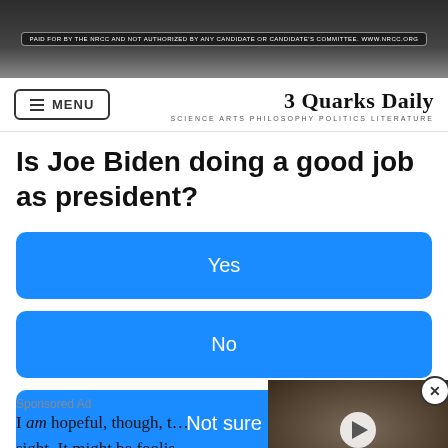[Figure (photo): Top photo strip showing people in dark background with a banner overlay text reading campaign/political disclaimer]
MENU | 3 Quarks Daily — SCIENCE ARTS PHILOSOPHY POLITICS LITERATURE
Is Joe Biden doing a good job as president?
Yes
No
Not sure
Sponsored Ad
I am hopeful, though, t… sight. It might be foolis… prediction, but I think
[Figure (screenshot): Video thumbnail overlay showing a small animal (possibly a sea creature) with a play button in the center]